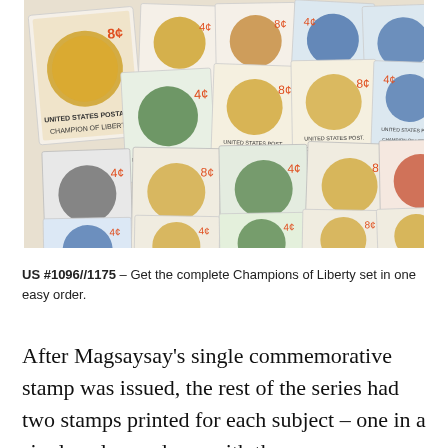[Figure (photo): A collage of US postage stamps from the Champions of Liberty series, showing various portrait medallion stamps in gold, green, blue, orange/red, and gray colors with denominations of 4 cents and 8 cents, labeled UNITED STATES POSTAGE and CHAMPION OF LIBERTY.]
US #1096//1175 – Get the complete Champions of Liberty set in one easy order.
After Magsaysay's single commemorative stamp was issued, the rest of the series had two stamps printed for each subject – one in a single color, and one with three